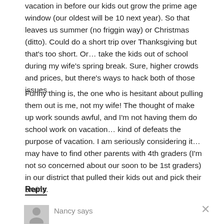vacation in before our kids out grow the prime age window (our oldest will be 10 next year). So that leaves us summer (no friggin way) or Christmas (ditto). Could do a short trip over Thanksgiving but that's too short. Or… take the kids out of school during my wife's spring break. Sure, higher crowds and prices, but there's ways to hack both of those issues.
Funny thing is, the one who is hesitant about pulling them out is me, not my wife! The thought of make up work sounds awful, and I'm not having them do school work on vacation… kind of defeats the purpose of vacation. I am seriously considering it… may have to find other parents with 4th graders (I'm not so concerned about our soon to be 1st graders) in our district that pulled their kids out and pick their brains.
Reply
Nancy says